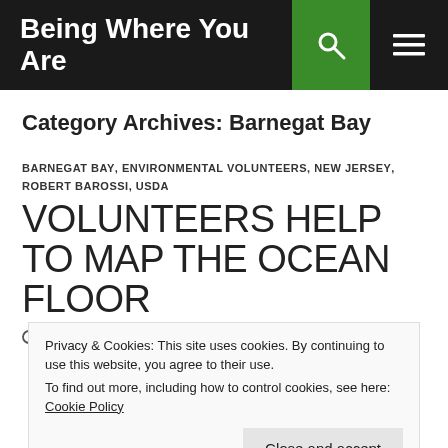Being Where You Are
Category Archives: Barnegat Bay
BARNEGAT BAY, ENVIRONMENTAL VOLUNTEERS, NEW JERSEY, ROBERT BAROSSI, USDA
VOLUNTEERS HELP TO MAP THE OCEAN FLOOR
APRIL 15, 2015   LEAVE A COMMENT
Privacy & Cookies: This site uses cookies. By continuing to use this website, you agree to their use.
To find out more, including how to control cookies, see here: Cookie Policy
Close and accept